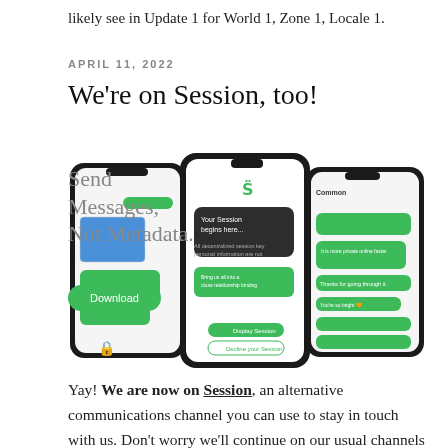likely see in Update 1 for World 1, Zone 1, Locale 1.
APRIL 11, 2022
We're on Session, too!
[Figure (illustration): Session app screenshot showing three smartphones displaying a messaging interface with 'Send Messages, Not Metadata.' tagline and a green Download button.]
Yay! We are now on Session, an alternative communications channel you can use to stay in touch with us. Don't worry we'll continue on our usual channels @Discord and @Telegram. This will be yet another great